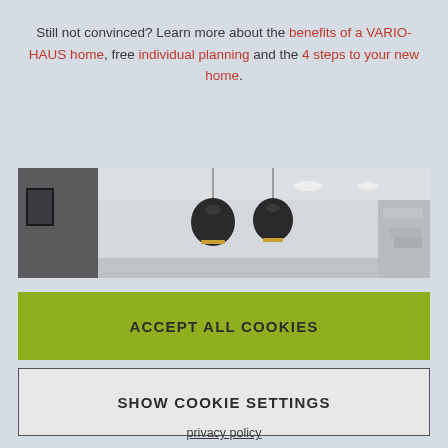Still not convinced? Learn more about the benefits of a VARIO-HAUS home, free individual planning and the 4 steps to your new home.
[Figure (photo): Interior room photo showing pendant lights hanging from ceiling with modern home design]
ACCEPT ALL COOKIES
SHOW COOKIE SETTINGS
privacy policy